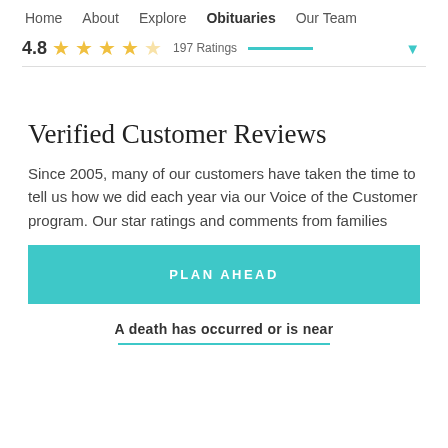Home   About   Explore   Obituaries   Our Team
4.8  ★★★★☆  197 Ratings
Verified Customer Reviews
Since 2005, many of our customers have taken the time to tell us how we did each year via our Voice of the Customer program. Our star ratings and comments from families
PLAN AHEAD
A death has occurred or is near